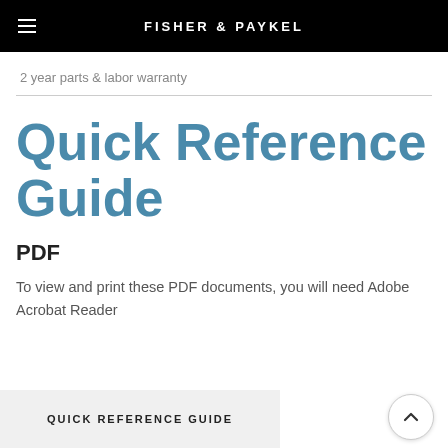FISHER & PAYKEL
2 year parts & labor warranty
Quick Reference Guide
PDF
To view and print these PDF documents, you will need Adobe Acrobat Reader
QUICK REFERENCE GUIDE